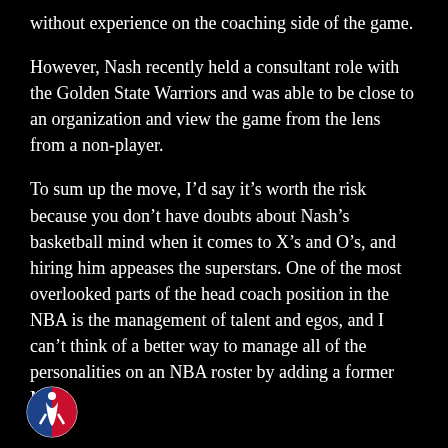without experience on the coaching side of the game.
However, Nash recently held a consultant role with the Golden State Warriors and was able to be close to an organization and view the game from the lens from a non-player.
To sum up the move, I’d say it’s worth the risk because you don’t have doubts about Nash’s basketball mind when it comes to X’s and O’s, and hiring him appeases the superstars. One of the most overlooked parts of the head coach position in the NBA is the management of talent and egos, and I can’t think of a better way to manage all of the personalities on an NBA roster by adding a former MVP.
[Figure (logo): NBA logo at the bottom left]